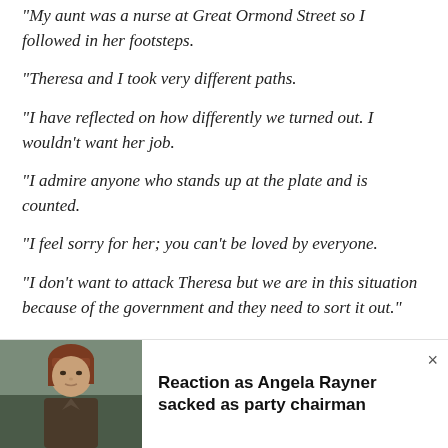“My aunt was a nurse at Great Ormond Street so I followed in her footsteps.
“Theresa and I took very different paths.
“I have reflected on how differently we turned out. I wouldn’t want her job.
“I admire anyone who stands up at the plate and is counted.
“I feel sorry for her; you can’t be loved by everyone.
“I don’t want to attack Theresa but we are in this situation because of the government and they need to sort it out.”
[Figure (photo): Photo of Angela Rayner, a woman with reddish-brown hair and fringe, looking serious, outdoors with blurred background]
Reaction as Angela Rayner sacked as party chairman